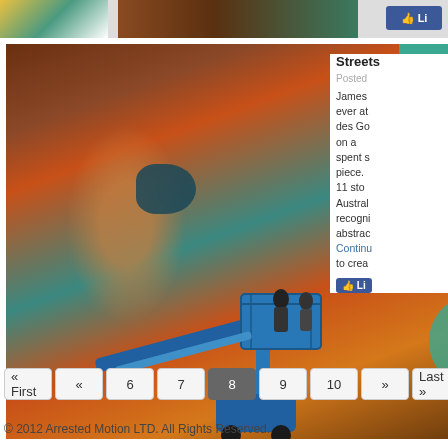[Figure (photo): Top strip showing partial images of artworks and a Like button]
[Figure (photo): Large mural photo showing colorful geometric street art on a brick wall with a blue aerial lift platform and workers]
Streets
Posted
James ever at des Go on a spent s piece. 11 sto Austral recogni abstrac Continue to crea
« First
«
6
7
8
9
10
»
Last »
© 2012 Arrested Motion LTD. All Rights Reserved.